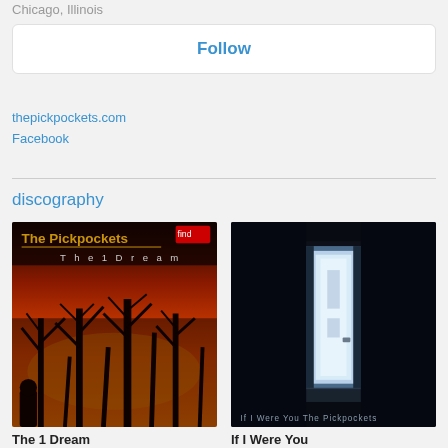Chicago, Illinois
Follow
thepickpockets.com
Facebook
discography
[Figure (photo): Album cover for 'The 1 Dream' by The Pickpockets – dark silhouette of bare trees against a vivid orange-red sunset sky, with the band name in gold text and album title in light text at the top.]
The 1 Dream
Sep 2021
[Figure (photo): Album cover for 'If I Were You' by The Pickpockets – dark, near-black image with a dimly lit doorway glowing with blue-white light, text 'If I Were You  The Pickpockets' at the bottom.]
If I Were You
Feb 2020